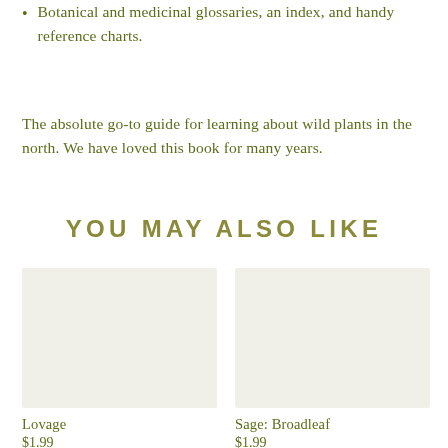Botanical and medicinal glossaries, an index, and handy reference charts.
The absolute go-to guide for learning about wild plants in the north. We have loved this book for many years.
YOU MAY ALSO LIKE
[Figure (photo): Product image placeholder for Lovage, light beige background]
Lovage
$1.99
[Figure (photo): Product image placeholder for Sage: Broadleaf, light beige background]
Sage: Broadleaf
$1.99